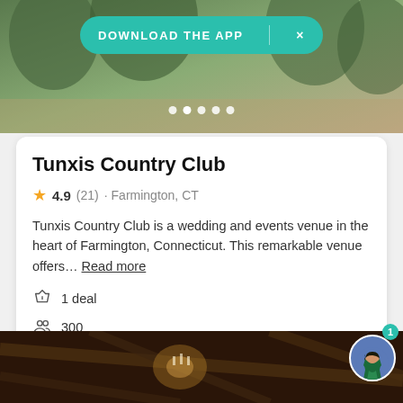[Figure (screenshot): Top outdoor venue photo with trees and greenery, partially visible]
DOWNLOAD THE APP   ×
Tunxis Country Club
★ 4.9 (21) · Farmington, CT
Tunxis Country Club is a wedding and events venue in the heart of Farmington, Connecticut. This remarkable venue offers… Read more
1 deal
300
Request pricing
[Figure (photo): Interior venue photo showing chandelier and wooden beam ceiling in a dark warm-toned room]